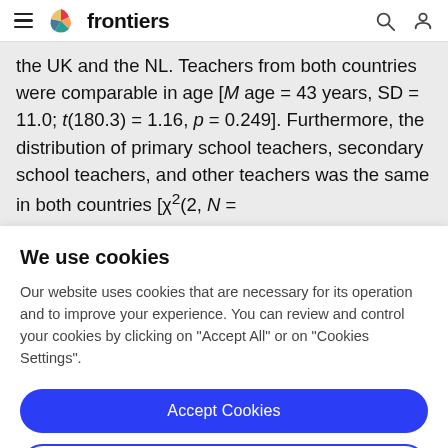frontiers
the UK and the NL. Teachers from both countries were comparable in age [M age = 43 years, SD = 11.0; t(180.3) = 1.16, p = 0.249]. Furthermore, the distribution of primary school teachers, secondary school teachers, and other teachers was the same in both countries [χ²(2, N =
We use cookies
Our website uses cookies that are necessary for its operation and to improve your experience. You can review and control your cookies by clicking on "Accept All" or on "Cookies Settings".
Accept Cookies
Cookies Settings